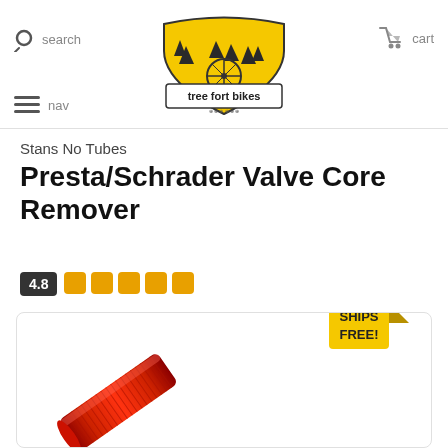tree fort bikes — search / nav / cart header
Stans No Tubes Presta/Schrader Valve Core Remover
4.8 stars rating
[Figure (photo): Product photo of red Presta/Schrader valve core remover tool, partially visible at bottom of page, with a 'SHIPS FREE!' badge in upper right corner of the product image container]